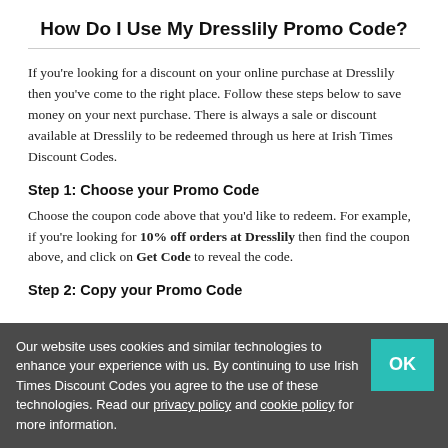How Do I Use My Dresslily Promo Code?
If you're looking for a discount on your online purchase at Dresslily then you've come to the right place. Follow these steps below to save money on your next purchase. There is always a sale or discount available at Dresslily to be redeemed through us here at Irish Times Discount Codes.
Step 1: Choose your Promo Code
Choose the coupon code above that you'd like to redeem. For example, if you're looking for 10% off orders at Dresslily then find the coupon above, and click on Get Code to reveal the code.
Step 2: Copy your Promo Code
Our website uses cookies and similar technologies to enhance your experience with us. By continuing to use Irish Times Discount Codes you agree to the use of these technologies. Read our privacy policy and cookie policy for more information.